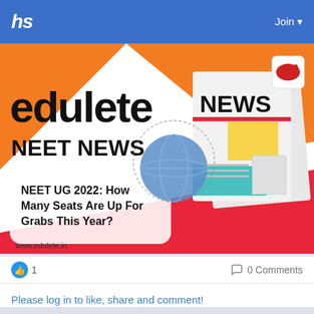hs   Join
[Figure (illustration): Edulete NEET News banner showing large 'edulete' logo text, 'NEET NEWS' subtitle, a rounded rectangle text box with headline 'NEET UG 2022: How Many Seats Are Up For Grabs This Year?', a 3D newspaper graphic with 'NEWS' label, a globe graphic, and 'www.edulete.in' URL at bottom. Background is orange/white/red geometric shapes.]
1
0 Comments
Please log in to like, share and comment!